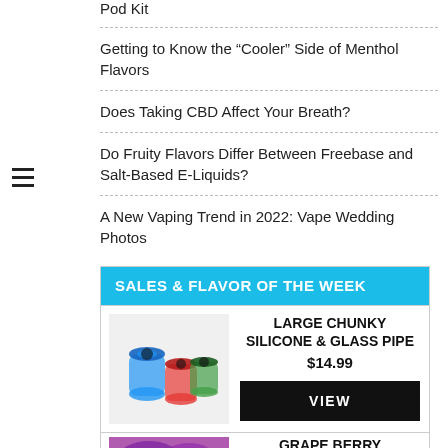Pod Kit
Getting to Know the “Cooler” Side of Menthol Flavors
Does Taking CBD Affect Your Breath?
Do Fruity Flavors Differ Between Freebase and Salt-Based E-Liquids?
A New Vaping Trend in 2022: Vape Wedding Photos
[Figure (infographic): Sales & Flavor of the Week promotional box featuring Large Chunky Silicone & Glass Pipe at $14.99 with a VIEW button and Grape Berry item at the bottom]
[Figure (photo): Colorful silicone and glass pipes]
[Figure (photo): Purple background product image for Grape Berry]